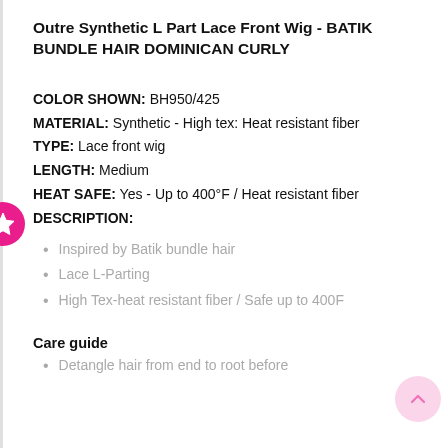Outre Synthetic L Part Lace Front Wig - BATIK BUNDLE HAIR DOMINICAN CURLY
COLOR SHOWN: BH950/425
MATERIAL: Synthetic - High tex: Heat resistant fiber
TYPE: Lace front wig
LENGTH: Medium
HEAT SAFE: Yes - Up to 400°F / Heat resistant fiber
DESCRIPTION:
Inspired by Batik bundle hair
Lace L-Parting
High Tex-heat resistant fiber / Safe up to 400F
Care guide
Detangle hair from end to root before